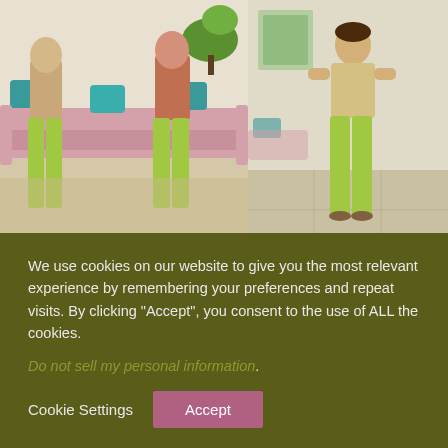[Figure (photo): Two product photos of lime green pants. Left photo shows two people wearing the green fringe pants seated on a pink couch. Right photo shows a single person standing wearing the lime green pants.]
FRINGE WITH ME PANTS
$44.99 (strikethrough original price)
$31.49
We use cookies on our website to give you the most relevant experience by remembering your preferences and repeat visits. By clicking "Accept", you consent to the use of ALL the cookies.
Do not sell my personal information.
Cookie Settings | Accept